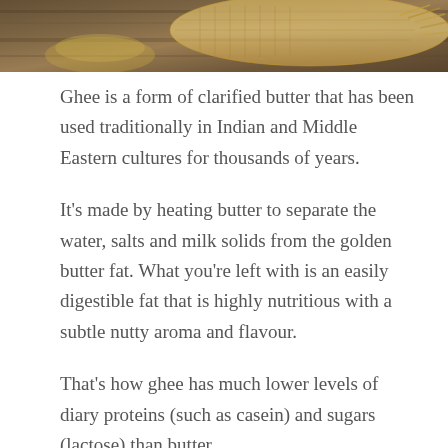[Figure (photo): Close-up photo of ghee/clarified butter with burlap/hessian fabric on a wooden surface]
Ghee is a form of clarified butter that has been used traditionally in Indian and Middle Eastern cultures for thousands of years.
It's made by heating butter to separate the water, salts and milk solids from the golden butter fat. What you're left with is an easily digestible fat that is highly nutritious with a subtle nutty aroma and flavour.
That's how ghee has much lower levels of diary proteins (such as casein) and sugars (lactose) than butter.
It has a variety of benefits, including a solid nutrient profile and really high smoke point, so it's safe to cook at high temperatures without damaging the fat.